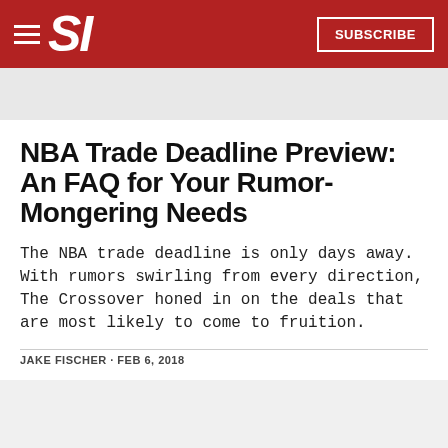SI — SUBSCRIBE
NBA Trade Deadline Preview: An FAQ for Your Rumor-Mongering Needs
The NBA trade deadline is only days away. With rumors swirling from every direction, The Crossover honed in on the deals that are most likely to come to fruition.
JAKE FISCHER · FEB 6, 2018
[Figure (screenshot): Video card showing a basketball player with title 'How Should Struggling Cavaliers A...' and subtitle 'The Cleveland Cavaliers are 6-9 in 2018. Are their prob...' with a play button overlay]